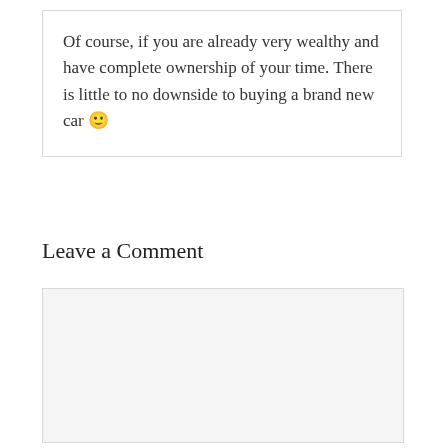Of course, if you are already very wealthy and have complete ownership of your time. There is little to no downside to buying a brand new car 🙂
Leave a Comment